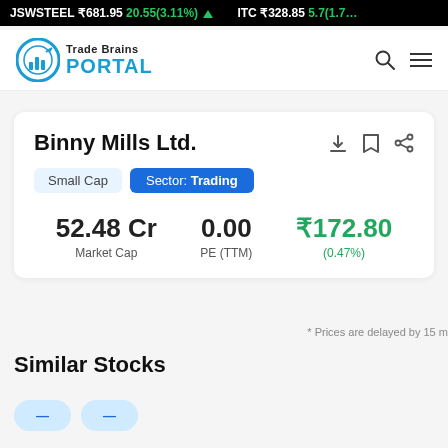JSWSTEEL ₹681.95 20.55(3.11%) ▲  ITC ₹328.85 5.7(1.7…
[Figure (logo): Trade Brains PORTAL logo with circular chart icon in teal/blue]
Binny Mills Ltd.
Small Cap  Sector: Trading
| Market Cap | PE (TTM) | Price |
| --- | --- | --- |
| 52.48 Cr | 0.00 | ₹172.80 (0.47%) |
* Prices are delayed by 15 mins
Similar Stocks